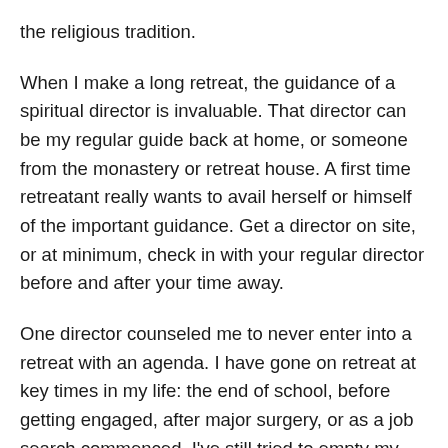the religious tradition.
When I make a long retreat, the guidance of a spiritual director is invaluable. That director can be my regular guide back at home, or someone from the monastery or retreat house. A first time retreatant really wants to avail herself or himself of the important guidance. Get a director on site, or at minimum, check in with your regular director before and after your time away.
One director counseled me to never enter into a retreat with an agenda. I have gone on retreat at key times in my life: the end of school, before getting engaged, after major surgery, or as a job search commenced. I've still tried to empty my mind of expectations, and usually the grace shown me has been a surprise.